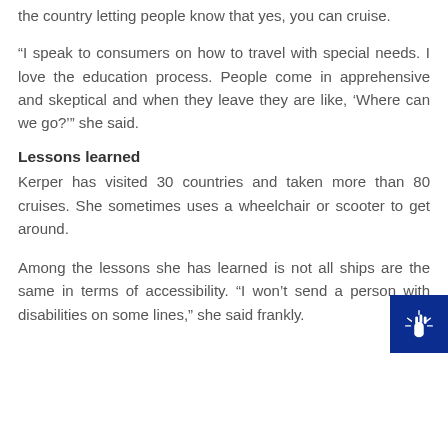the country letting people know that yes, you can cruise.
“I speak to consumers on how to travel with special needs. I love the education process. People come in apprehensive and skeptical and when they leave they are like, ‘Where can we go?’” she said.
Lessons learned
Kerper has visited 30 countries and taken more than 80 cruises. She sometimes uses a wheelchair or scooter to get around.
Among the lessons she has learned is not all ships are the same in terms of accessibility. “I won’t send a person with disabilities on some lines,” she said frankly.